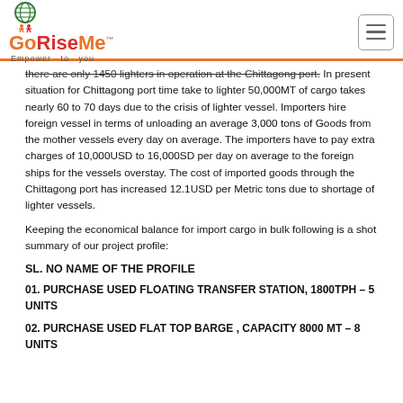GoRiseMe™ — Empower to you
there are only 1450 lighters in operation at the Chittagong port. In present situation for Chittagong port time take to lighter 50,000MT of cargo takes nearly 60 to 70 days due to the crisis of lighter vessel. Importers hire foreign vessel in terms of unloading an average 3,000 tons of Goods from the mother vessels every day on average. The importers have to pay extra charges of 10,000USD to 16,000SD per day on average to the foreign ships for the vessels overstay. The cost of imported goods through the Chittagong port has increased 12.1USD per Metric tons due to shortage of lighter vessels.
Keeping the economical balance for import cargo in bulk following is a shot summary of our project profile:
SL. NO NAME OF THE PROFILE
01. PURCHASE USED FLOATING TRANSFER STATION, 1800TPH – 5 UNITS
02. PURCHASE USED FLAT TOP BARGE , CAPACITY 8000 MT – 8 UNITS